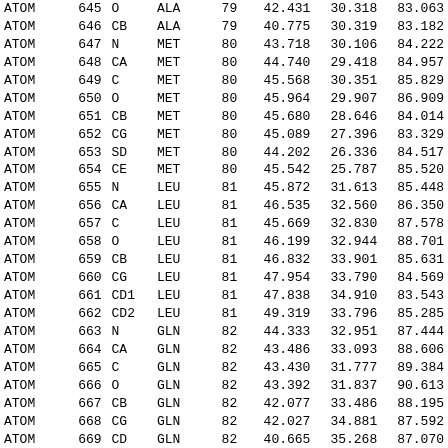| type | serial | name | res | resSeq | x | y | z |
| --- | --- | --- | --- | --- | --- | --- | --- |
| ATOM | 645 | O | ALA | 79 | 42.431 | 30.318 | 83.063 |
| ATOM | 646 | CB | ALA | 79 | 40.775 | 30.319 | 83.182 |
| ATOM | 647 | N | MET | 80 | 43.718 | 30.106 | 84.222 |
| ATOM | 648 | CA | MET | 80 | 44.740 | 29.418 | 84.957 |
| ATOM | 649 | C | MET | 80 | 45.568 | 30.351 | 85.829 |
| ATOM | 650 | O | MET | 80 | 45.964 | 29.907 | 86.909 |
| ATOM | 651 | CB | MET | 80 | 45.680 | 28.646 | 84.014 |
| ATOM | 652 | CG | MET | 80 | 45.089 | 27.396 | 83.329 |
| ATOM | 653 | SD | MET | 80 | 44.202 | 26.336 | 84.517 |
| ATOM | 654 | CE | MET | 80 | 45.542 | 25.787 | 85.520 |
| ATOM | 655 | N | LEU | 81 | 45.872 | 31.613 | 85.448 |
| ATOM | 656 | CA | LEU | 81 | 46.535 | 32.560 | 86.350 |
| ATOM | 657 | C | LEU | 81 | 45.669 | 32.830 | 87.578 |
| ATOM | 658 | O | LEU | 81 | 46.199 | 32.944 | 88.701 |
| ATOM | 659 | CB | LEU | 81 | 46.832 | 33.901 | 85.631 |
| ATOM | 660 | CG | LEU | 81 | 47.954 | 33.790 | 84.569 |
| ATOM | 661 | CD1 | LEU | 81 | 47.838 | 34.910 | 83.543 |
| ATOM | 662 | CD2 | LEU | 81 | 49.319 | 33.796 | 85.285 |
| ATOM | 663 | N | GLN | 82 | 44.333 | 32.951 | 87.444 |
| ATOM | 664 | CA | GLN | 82 | 43.486 | 33.093 | 88.606 |
| ATOM | 665 | C | GLN | 82 | 43.430 | 31.777 | 89.384 |
| ATOM | 666 | O | GLN | 82 | 43.392 | 31.837 | 90.613 |
| ATOM | 667 | CB | GLN | 82 | 42.077 | 33.486 | 88.195 |
| ATOM | 668 | CG | GLN | 82 | 42.027 | 34.881 | 87.592 |
| ATOM | 669 | CD | GLN | 82 | 40.665 | 35.268 | 87.070 |
| ATOM | 670 | OE1 | GLN | 82 | 39.907 | 35.886 | 87.819 |
| ATOM | 671 | NE2 | GLN | 82 | 40.279 | 34.873 | 85.863 |
| ATOM | 672 | N | PHE | 83 | 43.437 | 30.567 | 88.782 |
| ATOM | 673 | CA | PHE | 83 | 43.440 | 29.311 | 89.543 |
| ATOM | 674 | C | PHE | 83 | 44.730 | 29.182 | 90.350 |
| ATOM | 675 | O | PHE | 83 | 44.718 | 28.759 | 91.501 |